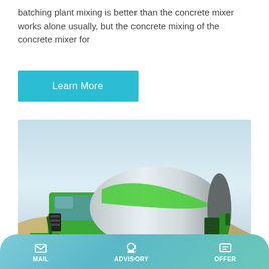batching plant mixing is better than the concrete mixer works alone usually, but the concrete mixing of the concrete mixer for
Learn More
[Figure (photo): A green self-loading concrete mixer truck parked on a construction site with sand/gravel piles and a clear sky in the background.]
Concrete Batching Plant Concrete
MAIL   ADVISORY   OFFER